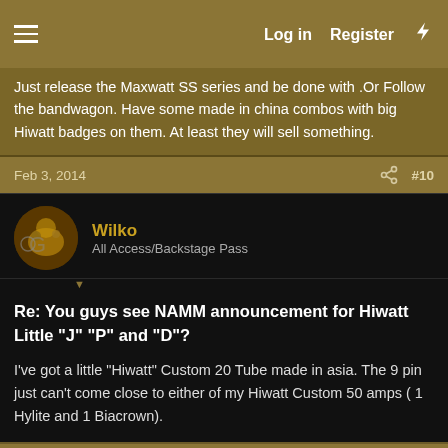Log in  Register
Just release the Maxwatt SS series and be done with .Or Follow the bandwagon. Have some made in china combos with big Hiwatt badges on them. At least they will sell something.
Feb 3, 2014  #10
Wilko
All Access/Backstage Pass
Re: You guys see NAMM announcement for Hiwatt Little "J" "P" and "D"?
I've got a little "Hiwatt" Custom 20 Tube made in asia. The 9 pin just can't come close to either of my Hiwatt Custom 50 amps ( 1 Hylite and 1 Biacrown).
Feb 18, 2014  #11
Cussion